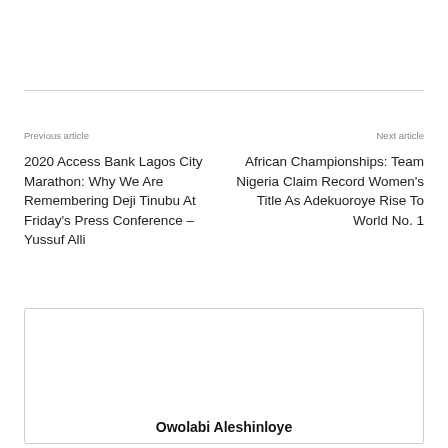Previous article
Next article
2020 Access Bank Lagos City Marathon: Why We Are Remembering Deji Tinubu At Friday's Press Conference – Yussuf Alli
African Championships: Team Nigeria Claim Record Women's Title As Adekuoroye Rise To World No. 1
Owolabi Aleshinloye